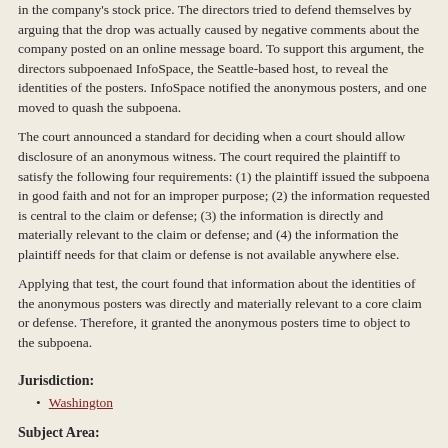in the company's stock price. The directors tried to defend themselves by arguing that the drop was actually caused by negative comments about the company posted on an online message board. To support this argument, the directors subpoenaed InfoSpace, the Seattle-based host, to reveal the identities of the posters. InfoSpace notified the anonymous posters, and one moved to quash the subpoena.
The court announced a standard for deciding when a court should allow disclosure of an anonymous witness. The court required the plaintiff to satisfy the following four requirements: (1) the plaintiff issued the subpoena in good faith and not for an improper purpose; (2) the information requested is central to the claim or defense; (3) the information is directly and materially relevant to the claim or defense; and (4) the information the plaintiff needs for that claim or defense is not available anywhere else.
Applying that test, the court found that information about the identities of the anonymous posters was directly and materially relevant to a core claim or defense. Therefore, it granted the anonymous posters time to object to the subpoena.
Jurisdiction:
Washington
Subject Area:
Anonymity
Subpoenas